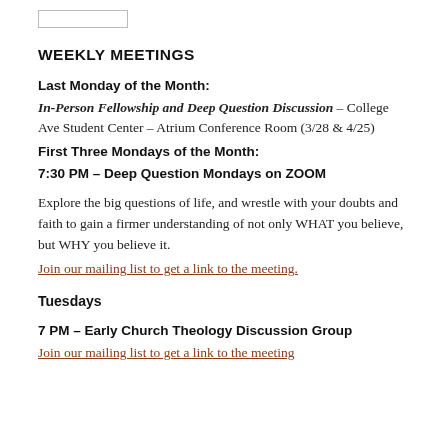[Figure (other): Small rectangle outline box at top left]
WEEKLY MEETINGS
Last Monday of the Month:
In-Person Fellowship and Deep Question Discussion – College Ave Student Center – Atrium Conference Room (3/28 & 4/25)
First Three Mondays of the Month:
7:30 PM – Deep Question Mondays on ZOOM
Explore the big questions of life, and wrestle with your doubts and faith to gain a firmer understanding of not only WHAT you believe, but WHY you believe it.
Join our mailing list to get a link to the meeting.
Tuesdays
7 PM – Early Church Theology Discussion Group
Join our mailing list to get a link to the meeting